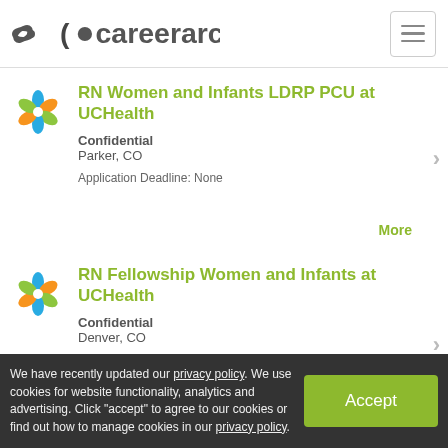careerarc
RN Women and Infants LDRP PCU at UCHealth
Confidential
Parker, CO
Application Deadline: None
More
RN Fellowship Women and Infants at UCHealth
Confidential
Denver, CO
Application Deadline: None
More
RN - Hiring Now! at UCHealth
We have recently updated our privacy policy. We use cookies for website functionality, analytics and advertising. Click "accept" to agree to our cookies or find out how to manage cookies in our privacy policy.